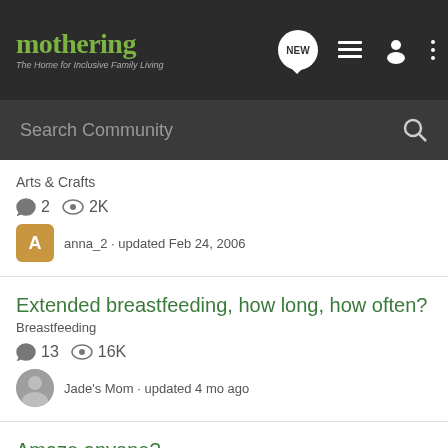[Figure (screenshot): Mothering website header with logo, search bar, and navigation icons]
Arts & Crafts
2  2K
anna_2 · updated Feb 24, 2006
Extended breastfeeding, how long, how often?
Breastfeeding
13  16K
Jade's Mom · updated 4 mo ago
Amaze anyone?
Diapering